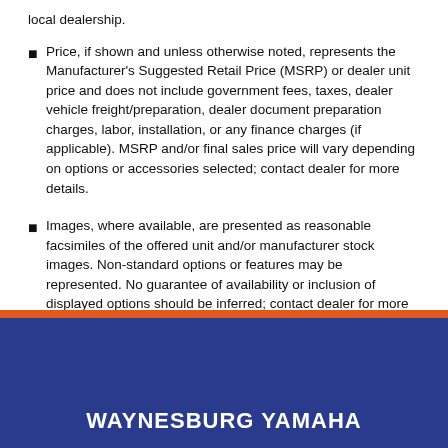local dealership.
Price, if shown and unless otherwise noted, represents the Manufacturer's Suggested Retail Price (MSRP) or dealer unit price and does not include government fees, taxes, dealer vehicle freight/preparation, dealer document preparation charges, labor, installation, or any finance charges (if applicable). MSRP and/or final sales price will vary depending on options or accessories selected; contact dealer for more details.
Images, where available, are presented as reasonable facsimiles of the offered unit and/or manufacturer stock images. Non-standard options or features may be represented. No guarantee of availability or inclusion of displayed options should be inferred; contact dealer for more details.
WAYNESBURG YAMAHA